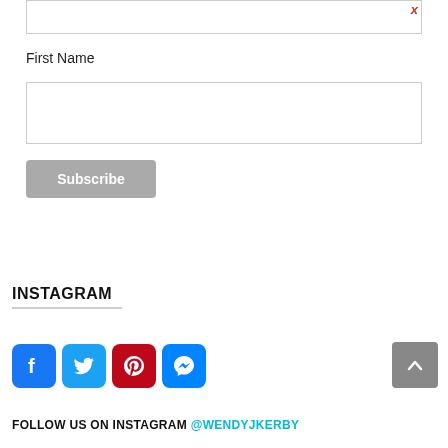[Figure (screenshot): Partial email input field at the top of the page with a red/orange close X button on the right]
First Name
[Figure (screenshot): Empty text input field for First Name]
[Figure (screenshot): Gray Subscribe button]
INSTAGRAM
[Figure (screenshot): Social media icons row: Facebook, Twitter, Pinterest, Messenger]
FOLLOW US ON INSTAGRAM @WENDYJKERBY